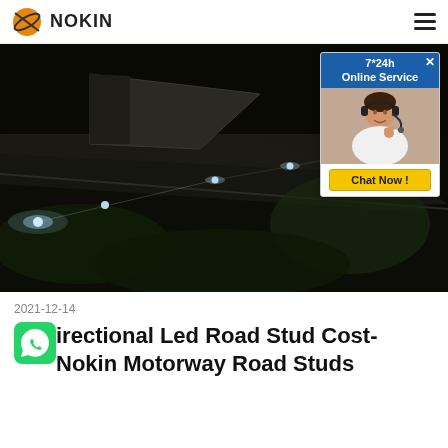NOKIN
[Figure (photo): Night-time road with LED road studs glowing along lane markings, dark asphalt surface]
2021-12-14
Directional Led Road Stud Cost-Nokin Motorway Road Studs